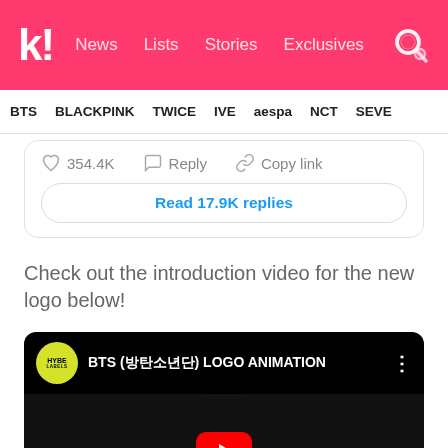k! News  Lists  Stories  Exclusives
BTS  BLACKPINK  TWICE  IVE  aespa  NCT  SEVE
354.4K  Reply  Copy link
Read 17.9K replies
Check out the introduction video for the new logo below!
[Figure (screenshot): YouTube embed showing HYBE Labels video titled 'BTS (방탄소년단) LOGO ANIMATION' with dark background showing a light beam and a red YouTube play button at the bottom center]